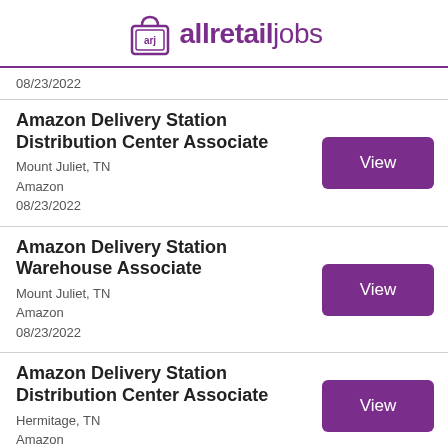[Figure (logo): allretailjobs logo with shopping bag icon and purple text]
08/23/2022
Amazon Delivery Station Distribution Center Associate
Mount Juliet, TN
Amazon
08/23/2022
Amazon Delivery Station Warehouse Associate
Mount Juliet, TN
Amazon
08/23/2022
Amazon Delivery Station Distribution Center Associate
Hermitage, TN
Amazon